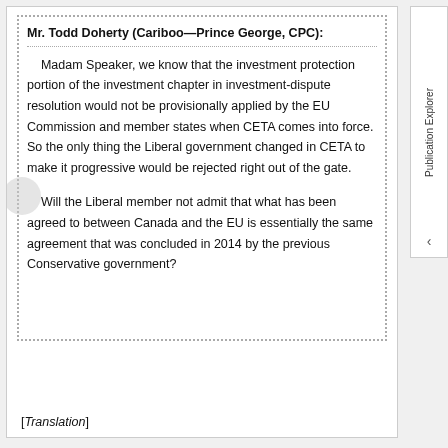Mr. Todd Doherty (Cariboo—Prince George, CPC): Madam Speaker, we know that the investment protection portion of the investment chapter in investment-dispute resolution would not be provisionally applied by the EU Commission and member states when CETA comes into force. So the only thing the Liberal government changed in CETA to make it progressive would be rejected right out of the gate.

Will the Liberal member not admit that what has been agreed to between Canada and the EU is essentially the same agreement that was concluded in 2014 by the previous Conservative government?
[Translation]